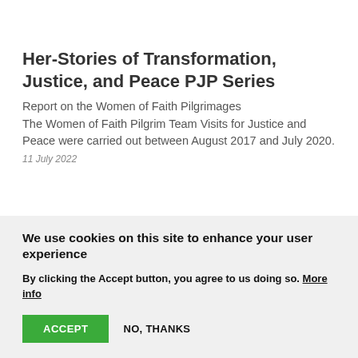Her-Stories of Transformation, Justice, and Peace PJP Series
Report on the Women of Faith Pilgrimages
The Women of Faith Pilgrim Team Visits for Justice and Peace were carried out between August 2017 and July 2020.
11 July 2022
We use cookies on this site to enhance your user experience
By clicking the Accept button, you agree to us doing so. More info
ACCEPT   NO, THANKS